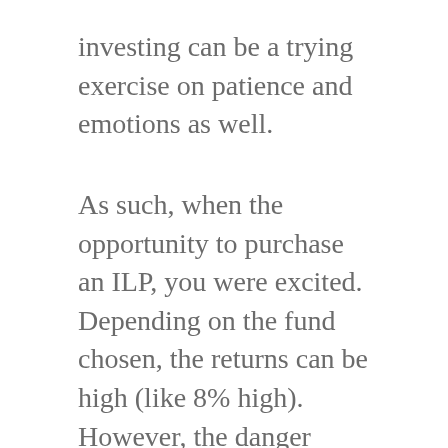investing can be a trying exercise on patience and emotions as well.
As such, when the opportunity to purchase an ILP, you were excited. Depending on the fund chosen, the returns can be high (like 8% high). However, the danger about having no time to invest and having an ILP is that you have no time to monitor your returns as well. Before you know it, you're chalking up losses because despite the constant request by your financial adviser to meet up to review the performance of your fund, you simply have no time to